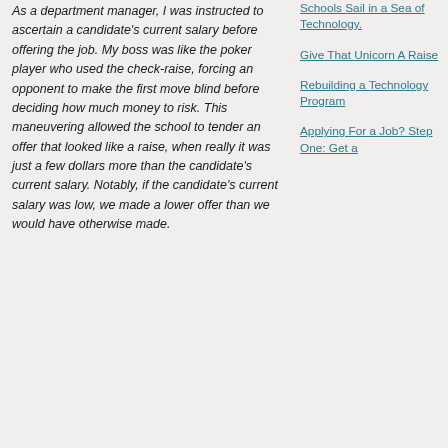As a department manager, I was instructed to ascertain a candidate's current salary before offering the job. My boss was like the poker player who used the check-raise, forcing an opponent to make the first move blind before deciding how much money to risk. This maneuvering allowed the school to tender an offer that looked like a raise, when really it was just a few dollars more than the candidate's current salary. Notably, if the candidate's current salary was low, we made a lower offer than we would have otherwise made.
Schools Sail in a Sea of Technology
Give That Unicorn A Raise
Rebuilding a Technology Program
Applying For a Job? Step One: Get a